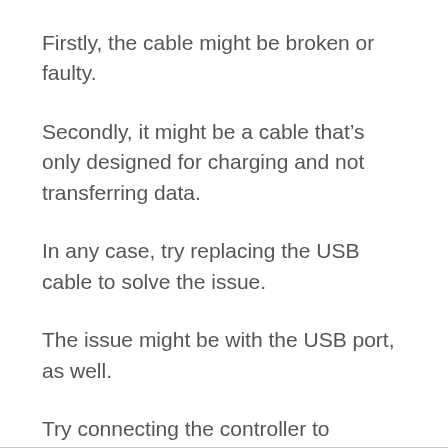Firstly, the cable might be broken or faulty.
Secondly, it might be a cable that’s only designed for charging and not transferring data.
In any case, try replacing the USB cable to solve the issue.
The issue might be with the USB port, as well.
Try connecting the controller to another port or the back of your PC.